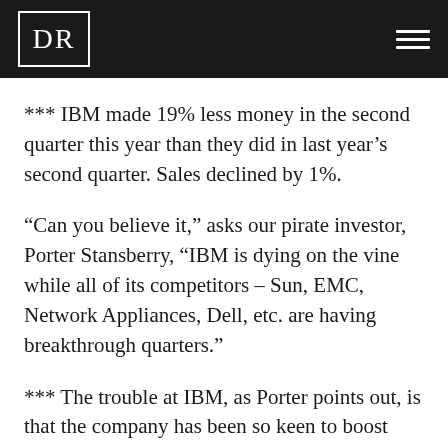DR
*** IBM made 19% less money in the second quarter this year than they did in last year’s second quarter. Sales declined by 1%.
“Can you believe it,” asks our pirate investor, Porter Stansberry, “IBM is dying on the vine while all of its competitors – Sun, EMC, Network Appliances, Dell, etc. are having breakthrough quarters.”
*** The trouble at IBM, as Porter points out, is that the company has been so keen to boost ‘shareholder value’ that they have destroyed the business. Instead of investing in new plant and equipment, Big Blue bought back its own shares – at record prices – cut